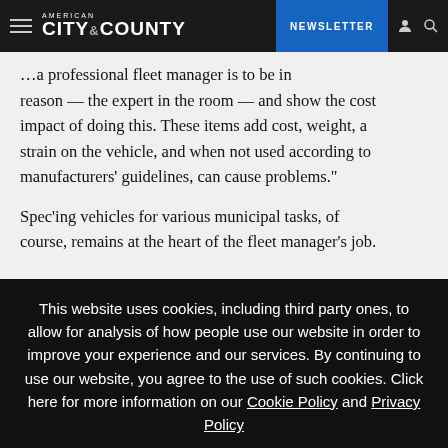AMERICAN CITY & COUNTY — NEWSLETTER
...a professional fleet manager is to be in reason — the expert in the room — and show the cost impact of doing this. These items add cost, weight, a strain on the vehicle, and when not used according to manufacturers' guidelines, can cause problems."
Spec'ing vehicles for various municipal tasks, of course, remains at the heart of the fleet manager's job.
This website uses cookies, including third party ones, to allow for analysis of how people use our website in order to improve your experience and our services. By continuing to use our website, you agree to the use of such cookies. Click here for more information on our Cookie Policy and Privacy Policy
Accept and Close ✕
Your browser settings do not allow cross-site tracking for advertising. Click on this page to allow AdRoll to use cross-site tracking to tailor ads to you. Learn more or opt out of this AdRoll tracking by clicking here. This message only appears once.